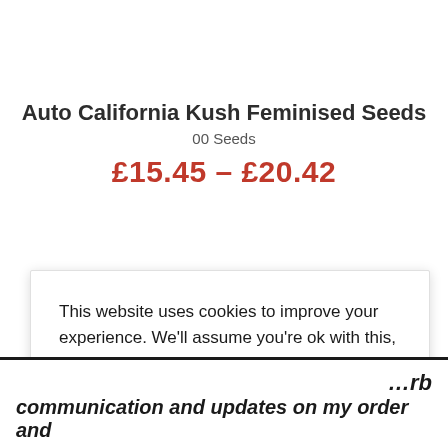Auto California Kush Feminised Seeds
00 Seeds
£15.45 – £20.42
This website uses cookies to improve your experience. We'll assume you're ok with this, but you can opt-out if you wish.
Cookie settings  ACCEPT
…rb
communication and updates on my order and